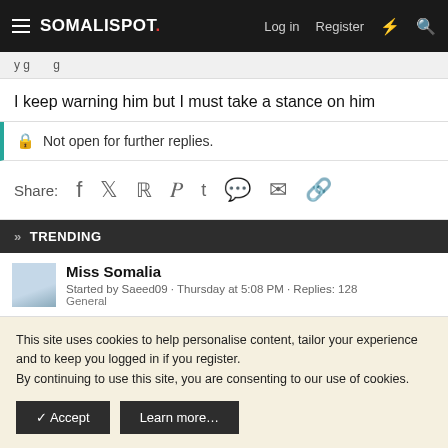SOMALISPOT. Log in  Register
y g g
I keep warning him but I must take a stance on him
Not open for further replies.
Share:
» TRENDING
Miss Somalia
Started by Saeed09 · Thursday at 5:08 PM · Replies: 128
General
This site uses cookies to help personalise content, tailor your experience and to keep you logged in if you register.
By continuing to use this site, you are consenting to our use of cookies.